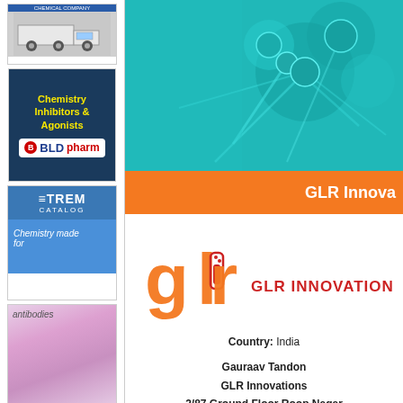[Figure (photo): Truck advertisement for a chemical company]
[Figure (logo): BLDpharm advertisement: Chemistry Inhibitors & Agonists]
[Figure (logo): STREM Catalog advertisement: Chemistry made for]
[Figure (photo): Antibodies advertisement with pink microscopy background]
[Figure (logo): Noah Chemicals advertisement]
[Figure (photo): Teal/cyan hero image with molecular or scientific imagery]
GLR Innova
[Figure (logo): GLR Innovations logo with test tube icon and orange/red lettering]
Country: India
Gauraav Tandon
GLR Innovations
2/87 Ground Floor Roop Nagar
Delhi 110007